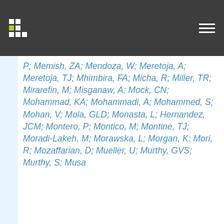P; Memish, ZA; Mendoza, W; Meretoja, A; Meretoja, TJ; Mhimbira, FA; Micha, R; Miller, TR; Mirarefin, M; Misganaw, A; Mock, CN; Mohammad, KA; Mohammadi, A; Mohammed, S; Mohan, V; Mola, GLD; Monasta, L; Hernandez, JCM; Montero, P; Montico, M; Montine, TJ; Moradi-Lakeh, M; Morawska, L; Morgan, K; Mori, R; Mozaffarian, D; Mueller, U; Murthy, GVS; Murthy, S; Musa